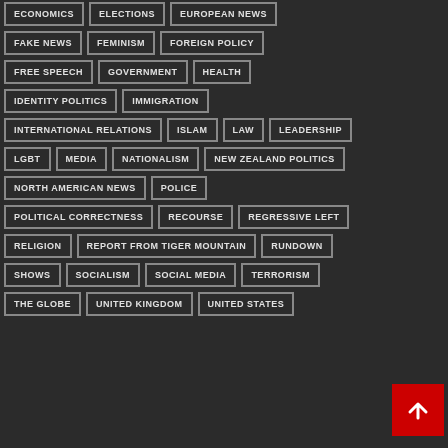ECONOMICS
ELECTIONS
EUROPEAN NEWS
FAKE NEWS
FEMINISM
FOREIGN POLICY
FREE SPEECH
GOVERNMENT
HEALTH
IDENTITY POLITICS
IMMIGRATION
INTERNATIONAL RELATIONS
ISLAM
LAW
LEADERSHIP
LGBT
MEDIA
NATIONALISM
NEW ZEALAND POLITICS
NORTH AMERICAN NEWS
POLICE
POLITICAL CORRECTNESS
RECOURSE
REGRESSIVE LEFT
RELIGION
REPORT FROM TIGER MOUNTAIN
RUNDOWN
SHOWS
SOCIALISM
SOCIAL MEDIA
TERRORISM
THE GLOBE
UNITED KINGDOM
UNITED STATES